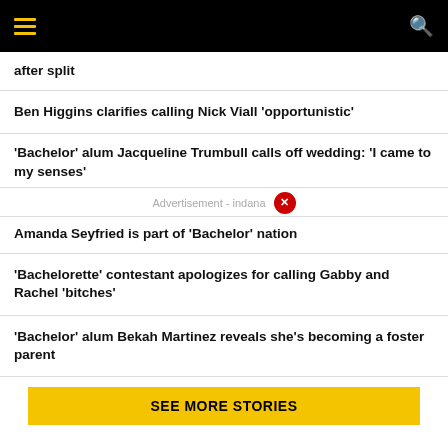Menu | Search
after split
Ben Higgins clarifies calling Nick Viall 'opportunistic'
'Bachelor' alum Jacqueline Trumbull calls off wedding: 'I came to my senses'
Advertisement - indana
Amanda Seyfried is part of 'Bachelor' nation
'Bachelorette' contestant apologizes for calling Gabby and Rachel 'bitches'
'Bachelor' alum Bekah Martinez reveals she's becoming a foster parent
SEE MORE STORIES